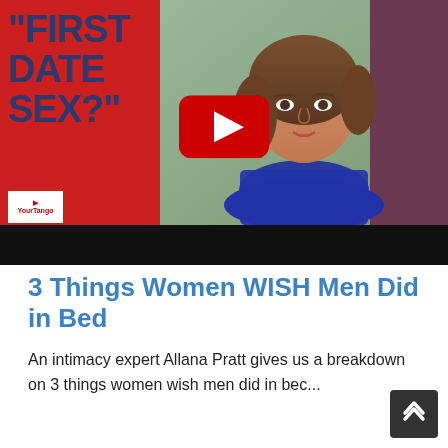[Figure (screenshot): YouTube video thumbnail showing a woman with brown curly hair speaking in front of a red panel with the text 'FIRST DATE SEX?' in dark blue bold letters. A YouTube play button (red with white triangle) is centered on the thumbnail. There is a black bar at the bottom of the video.]
3 Things Women WISH Men Did in Bed
An intimacy expert Allana Pratt gives us a breakdown on 3 things women wish men did in bed. In our conversation she shed Allana's credibility to...